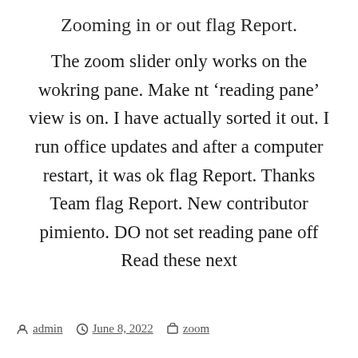Zooming in or out flag Report.
The zoom slider only works on the wokring pane. Make nt ‘reading pane’ view is on. I have actually sorted it out. I run office updates and after a computer restart, it was ok flag Report. Thanks Team flag Report. New contributor pimiento. DO not set reading pane off Read these next
By admin   June 8, 2022   zoom